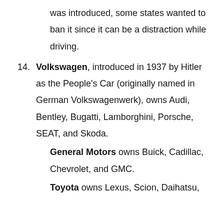was introduced, some states wanted to ban it since it can be a distraction while driving.
Volkswagen, introduced in 1937 by Hitler as the People's Car (originally named in German Volkswagenwerk), owns Audi, Bentley, Bugatti, Lamborghini, Porsche, SEAT, and Skoda.
General Motors owns Buick, Cadillac, Chevrolet, and GMC.
Toyota owns Lexus, Scion, Daihatsu,